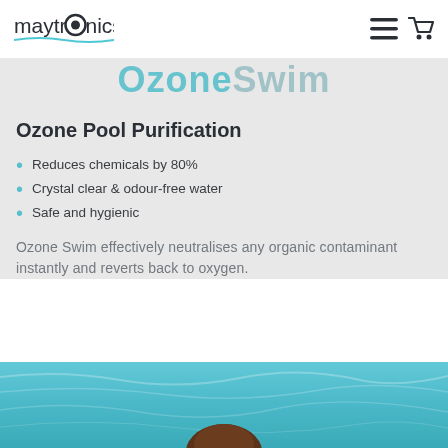maytronics
[Figure (illustration): Partial cropped text reading 'OzoneSwim' in large teal letters on grey background]
Ozone Pool Purification
Reduces chemicals by 80%
Crystal clear & odour-free water
Safe and hygienic
Ozone Swim effectively neutralises any organic contaminant instantly and reverts back to oxygen.
[Figure (photo): Bottom portion of page showing a swimmer in a clear blue pool, viewed from above with pool water texture]